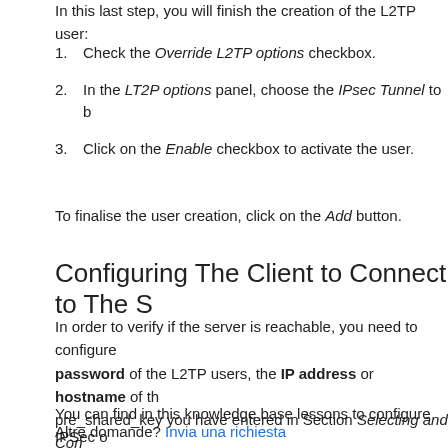In this last step, you will finish the creation of the L2TP user:
Check the Override L2TP options checkbox.
In the LT2P options panel, choose the IPsec Tunnel to b...
Click on the Enable checkbox to activate the user.
To finalise the user creation, click on the Add button.
Configuring The Client to Connect to The S...
In order to verify if the server is reachable, you need to configure... password of the L2TP users, the IP address or hostname of th... pre_shared_key you have entered in Section Selecting and Con...
You can find in this knowledge base lessons to configure IPSec o...
Altre domande? Invia una richiesta